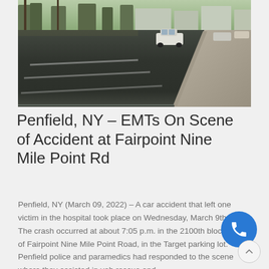[Figure (photo): Photograph of a wide urban road intersection showing asphalt pavement with lane markings, trees and buildings visible in the background, a white car driving, and a sidewalk with curb visible on the right side.]
Penfield, NY – EMTs On Scene of Accident at Fairpoint Nine Mile Point Rd
Penfield, NY (March 09, 2022) – A car accident that left one victim in the hospital took place on Wednesday, March 9th. The crash occurred at about 7:05 p.m. in the 2100th block of Fairpoint Nine Mile Point Road, in the Target parking lot. Penfield police and paramedics had responded to the scene where they assisted in vehicle rescue and ...